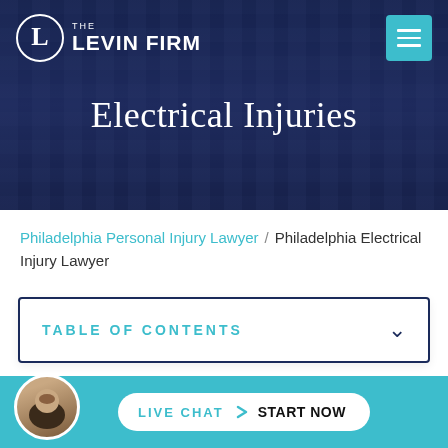[Figure (screenshot): The Levin Firm law firm website header with logo and hamburger menu on dark city background]
Electrical Injuries
Philadelphia Personal Injury Lawyer / Philadelphia Electrical Injury Lawyer
TABLE OF CONTENTS
Ph...
[Figure (screenshot): Live chat bar with attorney avatar, LIVE CHAT START NOW button]